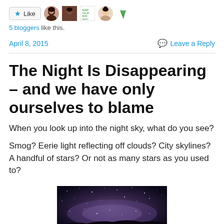[Figure (other): Like button with star icon, followed by five blogger avatar thumbnails]
5 bloggers like this.
April 8, 2015   Leave a Reply
The Night Is Disappearing – and we have only ourselves to blame
When you look up into the night sky, what do you see?
Smog? Eerie light reflecting off clouds? City skylines? A handful of stars? Or not as many stars as you used to?
[Figure (photo): Night sky photograph showing the Milky Way galaxy with stars against a dark sky]